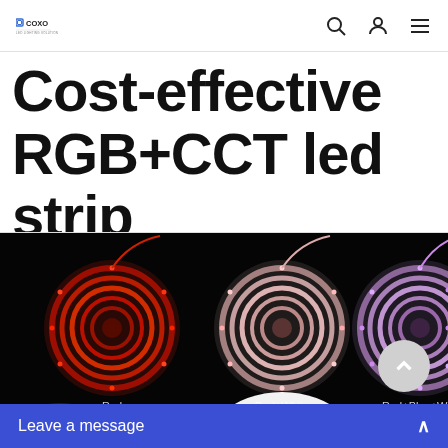COXO [logo] with search, user, menu icons
Cost-effective RGB+CCT led strip
[Figure (photo): Product photo showing three coiled LED strip light rolls on a black background, labeled: Red (red glow), Red+White (pinkish-white glow), Red+Blue+White (purple glow). A partial fourth strip is visible at the bottom left. A circular chat bubble partially visible at bottom center.]
Leave a message